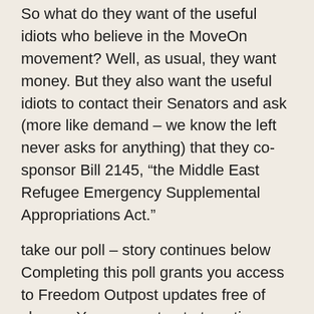So what do they want of the useful idiots who believe in the MoveOn movement? Well, as usual, they want money. But they also want the useful idiots to contact their Senators and ask (more like demand – we know the left never asks for anything) that they co-sponsor Bill 2145, “the Middle East Refugee Emergency Supplemental Appropriations Act.”
take our poll – story continues below Completing this poll grants you access to Freedom Outpost updates free of charge. You may opt out at anytime. You also agree to this site’s Privacy Policy and Terms of Use.
The Act would provide an extra $1 billion in emergency money to “allow funding for the resettlement of up to 100,000 refugees over two years.”
A billion dollars! Where are we going to get that money? Oh, that’s right. Congress and the president now have as